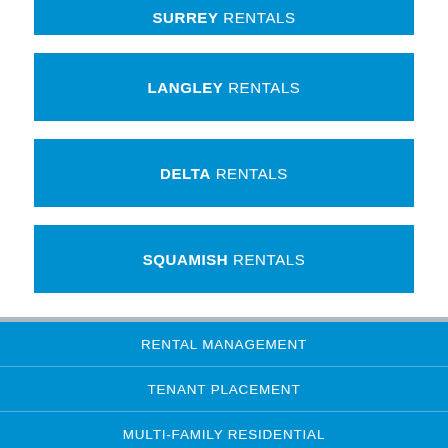SURREY RENTALS
LANGLEY RENTALS
DELTA RENTALS
SQUAMISH RENTALS
RENTAL MANAGEMENT
TENANT PLACEMENT
MULTI-FAMILY RESIDENTIAL